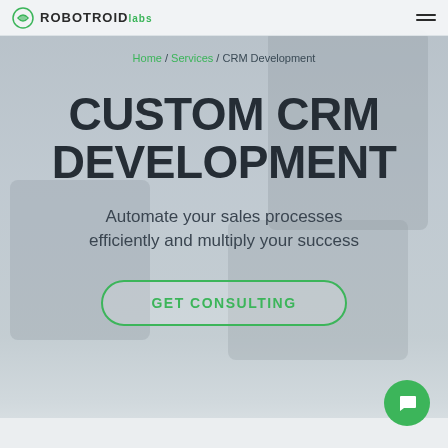ROBOTROID labs
Home / Services / CRM Development
CUSTOM CRM DEVELOPMENT
Automate your sales processes efficiently and multiply your success
GET CONSULTING